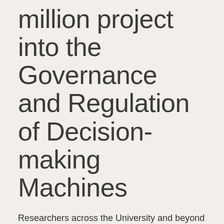million project into the Governance and Regulation of Decision-making Machines
Researchers across the University and beyond have come together to ensure the trustworthiness of systems that put machines in charge of decisions, from virtual assistants like Alexa to aircraft autopilot.
This project is part of the UKRI Trustworthy Autonomous Systems (TAS) programme, funded through the UKRI Strategic Priorities Fund and delivered by the Engineering and Physical Sciences Research Council (EPSRC). The TAS programme brings together research communities and key stakeholders to drive forward cross